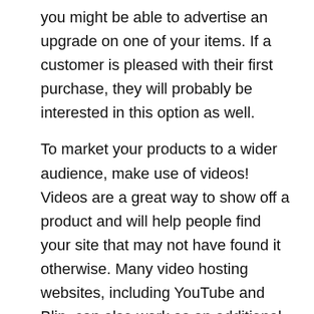you might be able to advertise an upgrade on one of your items. If a customer is pleased with their first purchase, they will probably be interested in this option as well.
To market your products to a wider audience, make use of videos! Videos are a great way to show off a product and will help people find your site that may not have found it otherwise. Many video hosting websites, including YouTube and Blip, can also work as an additional source of revenue for you.
You can present your product more efficiently by adding pictures or videos to your review. Film yourself using the product and